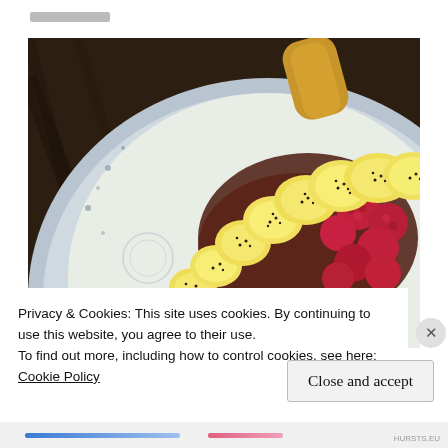[Figure (photo): Close-up photo of a decorative bowl containing sliced banana topped with chia seeds, raspberries, and chocolate sauce, placed on a dark wooden surface]
Privacy & Cookies: This site uses cookies. By continuing to use this website, you agree to their use.
To find out more, including how to control cookies, see here: Cookie Policy
Close and accept